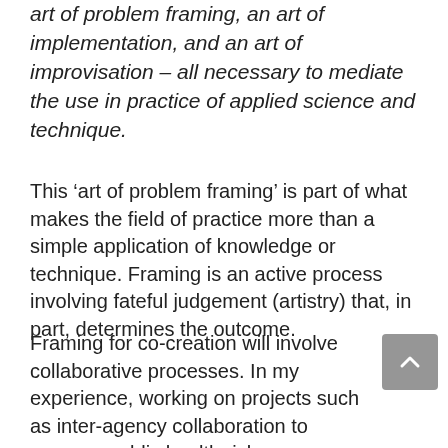art of problem framing, an art of implementation, and an art of improvisation – all necessary to mediate the use in practice of applied science and technique.
This 'art of problem framing' is part of what makes the field of practice more than a simple application of knowledge or technique. Framing is an active process involving fateful judgement (artistry) that, in part, determines the outcome.
Framing for co-creation will involve collaborative processes. In my experience, working on projects such as inter-agency collaboration to manage public health risks, collaborative framing depends on bringing